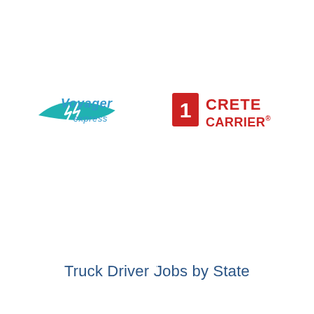[Figure (logo): Voyager Express logo — teal canoe shape with 'Voyager express' text in teal/blue italic font]
[Figure (logo): Crete Carrier logo — red stylized number 1 icon with 'CRETE CARRIER' in bold red text]
Truck Driver Jobs by State